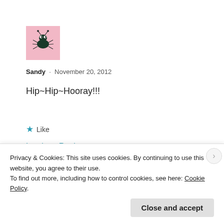[Figure (illustration): User avatar for Sandy: pink background with a cartoon bug/insect illustration]
Sandy · November 20, 2012
Hip~Hip~Hooray!!!
★ Like
Log in to Reply
[Figure (photo): Second user avatar: photo of green flowers or succulent plants on gray background]
Privacy & Cookies: This site uses cookies. By continuing to use this website, you agree to their use.
To find out more, including how to control cookies, see here: Cookie Policy
Close and accept